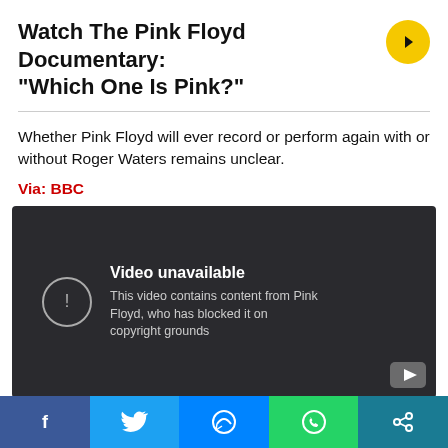Watch The Pink Floyd Documentary: “Which One Is Pink?”
Whether Pink Floyd will ever record or perform again with or without Roger Waters remains unclear.
Via: BBC
[Figure (screenshot): Embedded video player showing 'Video unavailable' message: 'This video contains content from Pink Floyd, who has blocked it on copyright grounds']
Social share bar: Facebook, Twitter, Messenger, WhatsApp, Share